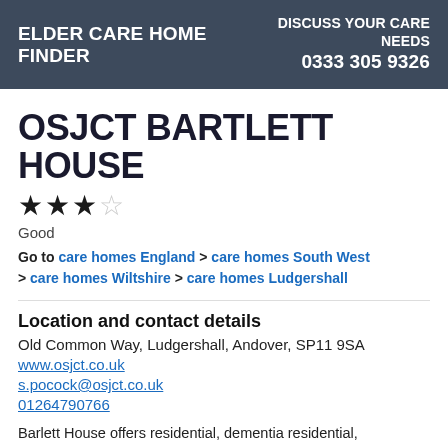ELDER CARE HOME FINDER | DISCUSS YOUR CARE NEEDS 0333 305 9326
OSJCT BARTLETT HOUSE
★★★☆ Good
Go to care homes England > care homes South West > care homes Wiltshire > care homes Ludgershall
Location and contact details
Old Common Way, Ludgershall, Andover, SP11 9SA
www.osjct.co.uk
s.pocock@osjct.co.uk
01264790766
Barlett House offers residential, dementia residential, nursing and dementia nursing care to 30 residents who need it.